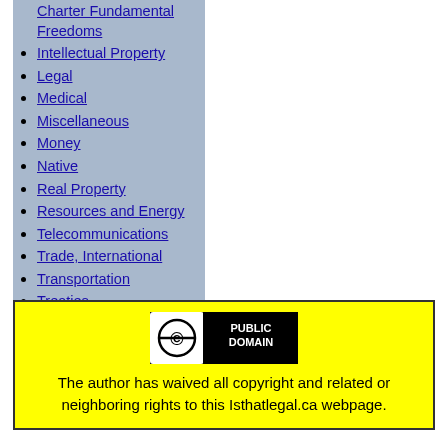Charter Fundamental Freedoms
Intellectual Property
Legal
Medical
Miscellaneous
Money
Native
Real Property
Resources and Energy
Telecommunications
Trade, International
Transportation
Treaties
[Figure (logo): Public Domain CC0 badge logo]
The author has waived all copyright and related or neighboring rights to this Isthatlegal.ca webpage.